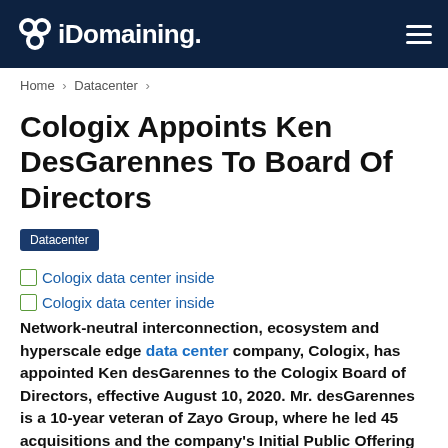iDomaining.
Home > Datacenter >
Cologix Appoints Ken DesGarennes To Board Of Directors
Datacenter
[Figure (photo): Broken image placeholder with alt text: Cologix data center inside]
[Figure (photo): Broken image placeholder with alt text: Cologix data center inside]
Network-neutral interconnection, ecosystem and hyperscale edge data center company, Cologix, has appointed Ken desGarennes to the Cologix Board of Directors, effective August 10, 2020. Mr. desGarennes is a 10-year veteran of Zayo Group, where he led 45 acquisitions and the company's Initial Public Offering (IPO) in 2014.